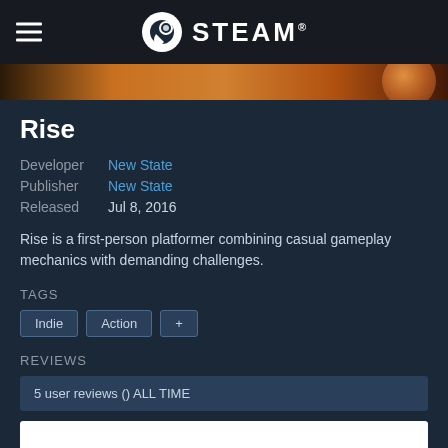STEAM
[Figure (screenshot): Banner image strip with orange/brown gradient and planet-like sphere on the right]
Rise
Developer  New State
Publisher  New State
Released   Jul 8, 2016
Rise is a first-person platformer combining casual gameplay mechanics with demanding challenges.
TAGS
Indie
Action
+
REVIEWS
5 user reviews () ALL TIME